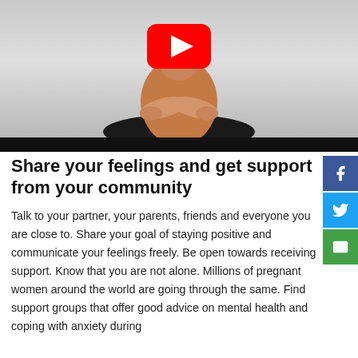[Figure (photo): A person sitting cross-legged on a dark background holding their belly, with a YouTube play button overlay visible at the top center. A black bar appears at the bottom of the video thumbnail.]
Share your feelings and get support from your community
Talk to your partner, your parents, friends and everyone you are close to. Share your goal of staying positive and communicate your feelings freely. Be open towards receiving support. Know that you are not alone. Millions of pregnant women around the world are going through the same. Find support groups that offer good advice on mental health and coping with anxiety during